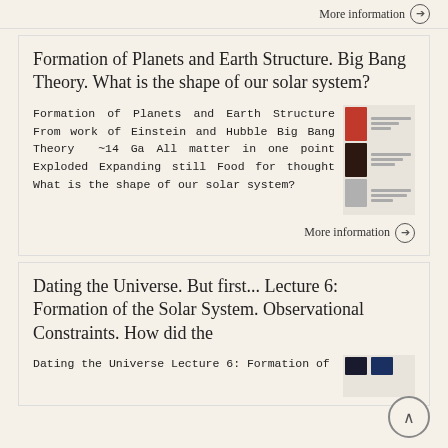More information →
Formation of Planets and Earth Structure. Big Bang Theory. What is the shape of our solar system?
Formation of Planets and Earth Structure From work of Einstein and Hubble Big Bang Theory ~14 Ga All matter in one point Exploded Expanding still Food for thought What is the shape of our solar system?
[Figure (screenshot): Thumbnail images of presentation slides showing planetary and cosmological content]
More information →
Dating the Universe. But first... Lecture 6: Formation of the Solar System. Observational Constraints. How did the
Dating the Universe Lecture 6: Formation of
[Figure (screenshot): Thumbnail images of lecture slides about dating the universe]